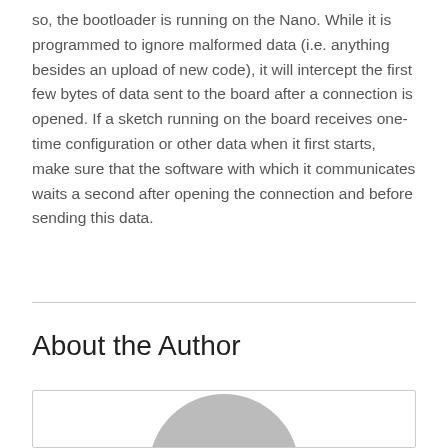so, the bootloader is running on the Nano. While it is programmed to ignore malformed data (i.e. anything besides an upload of new code), it will intercept the first few bytes of data sent to the board after a connection is opened. If a sketch running on the board receives one-time configuration or other data when it first starts, make sure that the software with which it communicates waits a second after opening the connection and before sending this data.
About the Author
[Figure (illustration): Author avatar placeholder box with partial circular gray silhouette visible at bottom]